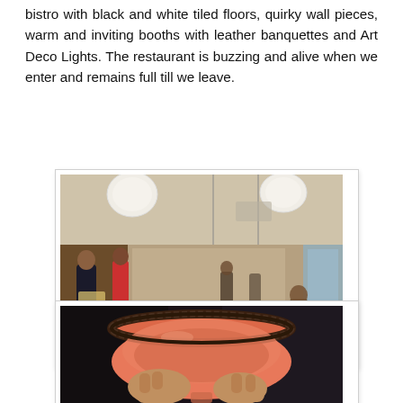bistro with black and white tiled floors, quirky wall pieces, warm and inviting booths with leather banquettes and Art Deco Lights. The restaurant is buzzing and alive when we enter and remains full till we leave.
[Figure (photo): Interior of a busy restaurant with warm lighting, pendant lights, booths, a bar area, and diners seated at tables.]
[Figure (photo): Close-up of a pink/coral cocktail in a margarita glass with a dark salted rim, held by a hand.]